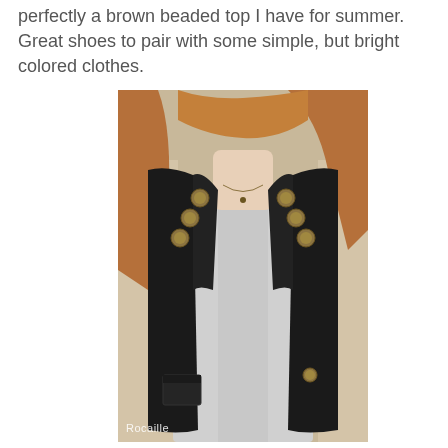perfectly a brown beaded top I have for summer. Great shoes to pair with some simple, but bright colored clothes.
[Figure (photo): A woman wearing a black military-style vest with gold/bronze buttons over a grey t-shirt, photographed from neck to waist. Long reddish-brown hair. Watermark 'Rocaille' in lower left corner of photo.]